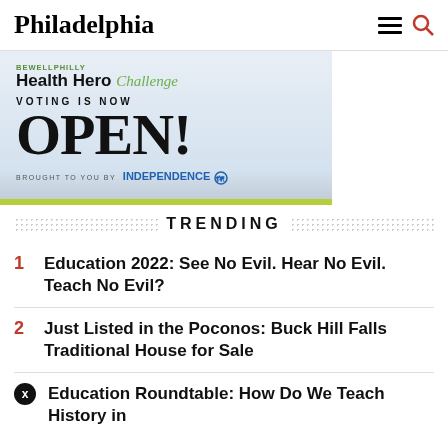Philadelphia
[Figure (infographic): Health Hero Challenge advertisement banner: 'VOTING IS NOW OPEN!' brought to you by Independence Blue Cross]
TRENDING
1 Education 2022: See No Evil. Hear No Evil. Teach No Evil?
2 Just Listed in the Poconos: Buck Hill Falls Traditional House for Sale
3 Education Roundtable: How Do We Teach History in